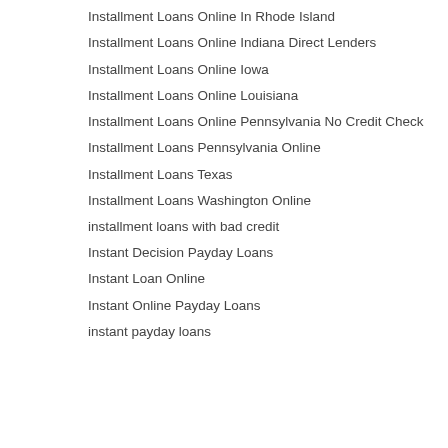Credit Check
Installment Loans Online In Rhode Island
Installment Loans Online Indiana Direct Lenders
Installment Loans Online Iowa
Installment Loans Online Louisiana
Installment Loans Online Pennsylvania No Credit Check
Installment Loans Pennsylvania Online
Installment Loans Texas
Installment Loans Washington Online
installment loans with bad credit
Instant Decision Payday Loans
Instant Loan Online
Instant Online Payday Loans
instant payday loans